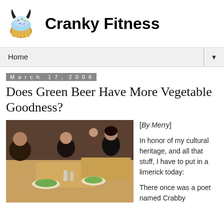[Figure (logo): Cranky Fitness blog logo: a cupcake with devil horns and colorful sprinkles]
Cranky Fitness
Home
March 17, 2008
Does Green Beer Have More Vegetable Goodness?
[Figure (photo): People sitting at restaurant tables with salads and drinks, casual dining scene]
[By Merry]
In honor of my cultural heritage, and all that stuff, I have to put in a limerick today:
There once was a poet named Crabby